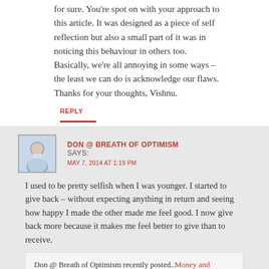for sure. You're spot on with your approach to this article. It was designed as a piece of self reflection but also a small part of it was in noticing this behaviour in others too. Basically, we're all annoying in some ways – the least we can do is acknowledge our flaws. Thanks for your thoughts, Vishnu.
REPLY
DON @ BREATH OF OPTIMISM SAYS: MAY 7, 2014 AT 1:19 PM
I used to be pretty selfish when I was younger. I started to give back – without expecting anything in return and seeing how happy I made the other made me feel good. I now give back more because it makes me feel better to give than to receive.
Don @ Breath of Optimism recently posted..Money and Happiness